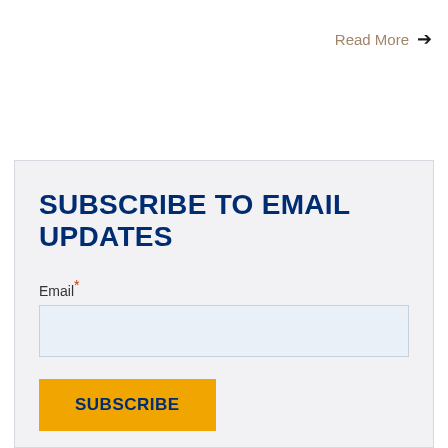Read More →
SUBSCRIBE TO EMAIL UPDATES
Email*
SUBSCRIBE